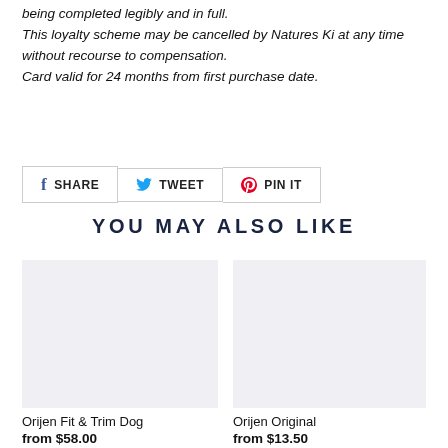being completed legibly and in full. This loyalty scheme may be cancelled by Natures Ki at any time without recourse to compensation. Card valid for 24 months from first purchase date.
[Figure (infographic): Social share buttons: Facebook SHARE, Twitter TWEET, Pinterest PIN IT]
YOU MAY ALSO LIKE
[Figure (photo): Product image placeholder for Orijen Fit & Trim Dog, light grey background]
Orijen Fit & Trim Dog
from $58.00
[Figure (photo): Product image placeholder for Orijen Original, light grey background]
Orijen Original
from $13.50